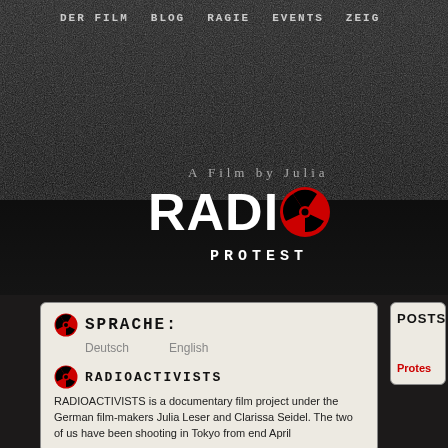DER FILM  BLOG  RAGIE  EVENTS  ZEIG
A Film by Julia
RADIO  PROTEST
SPRACHE:
Deutsch    English
RADIOACTIVISTS
RADIOACTIVISTS is a documentary film project under the German film-makers Julia Leser and Clarissa Seidel. The two of us have been shooting in Tokyo from end April
POSTS